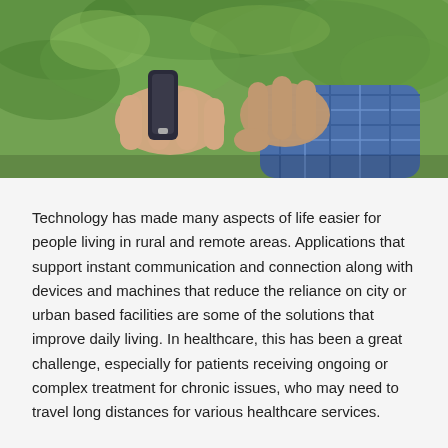[Figure (photo): Close-up photo of hands — one hand (younger, with lighter skin) holding a small medical device (likely a glucose meter or lancet device) near the finger of another hand (older, wearing a blue plaid shirt), with green foliage in the background.]
Technology has made many aspects of life easier for people living in rural and remote areas. Applications that support instant communication and connection along with devices and machines that reduce the reliance on city or urban based facilities are some of the solutions that improve daily living. In healthcare, this has been a great challenge, especially for patients receiving ongoing or complex treatment for chronic issues, who may need to travel long distances for various healthcare services.
Although rural communities often have access to local healthcare facilities, there are many other factors that contribute to how they can access healthcare. Some factors